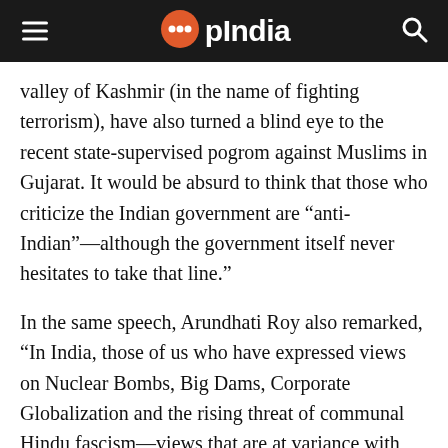OpIndia
valley of Kashmir (in the name of fighting terrorism), have also turned a blind eye to the recent state-supervised pogrom against Muslims in Gujarat. It would be absurd to think that those who criticize the Indian government are “anti-Indian”—although the government itself never hesitates to take that line.”
In the same speech, Arundhati Roy also remarked, “In India, those of us who have expressed views on Nuclear Bombs, Big Dams, Corporate Globalization and the rising threat of communal Hindu fascism—views that are at variance with the Indian Government’s—are branded ‘anti-national.’” From her words, it is pretty evident that very little has changed